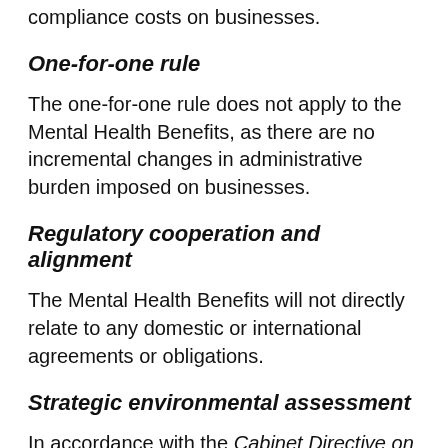compliance costs on businesses.
One-for-one rule
The one-for-one rule does not apply to the Mental Health Benefits, as there are no incremental changes in administrative burden imposed on businesses.
Regulatory cooperation and alignment
The Mental Health Benefits will not directly relate to any domestic or international agreements or obligations.
Strategic environmental assessment
In accordance with the Cabinet Directive on